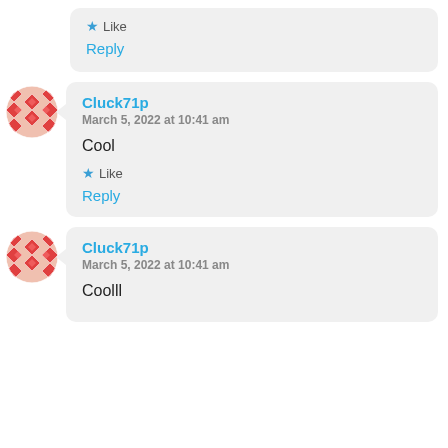Like
Reply
Cluck71p
March 5, 2022 at 10:41 am
Cool
Like
Reply
Cluck71p
March 5, 2022 at 10:41 am
Coolll